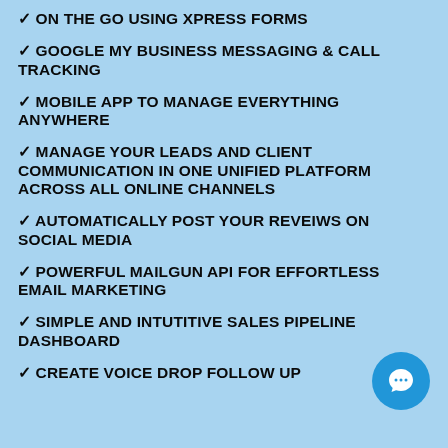✓ ON THE GO USING XPRESS FORMS
✓ GOOGLE MY BUSINESS MESSAGING & CALL TRACKING
✓ MOBILE APP TO MANAGE EVERYTHING ANYWHERE
✓ MANAGE YOUR LEADS AND CLIENT COMMUNICATION IN ONE UNIFIED PLATFORM ACROSS ALL ONLINE CHANNELS
✓ AUTOMATICALLY POST YOUR REVEIWS ON SOCIAL MEDIA
✓ POWERFUL MAILGUN API FOR EFFORTLESS EMAIL MARKETING
✓ SIMPLE AND INTUTITIVE SALES PIPELINE DASHBOARD
✓ CREATE VOICE DROP FOLLOW UP